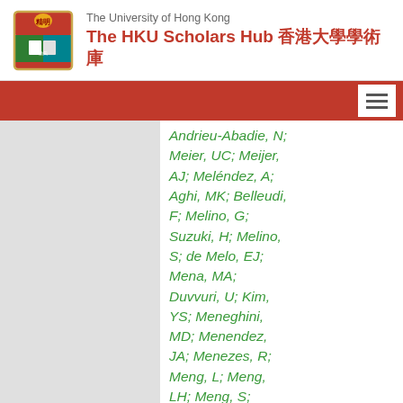The University of Hong Kong — The HKU Scholars Hub 香港大學學術庫
Andrieu-Abadie, N; Meier, UC; Meijer, AJ; Meléndez, A; Aghi, MK; Belleudi, F; Melino, G; Suzuki, H; Melino, S; de Melo, EJ; Mena, MA; Duvvuri, U; Kim, YS; Meneghini, MD; Menendez, JA; Menezes, R; Meng, L; Meng, LH; Meng, S; Kumar, A; Bénard, G; Menghini, R; Song, HK; Menko, AS; Menna-